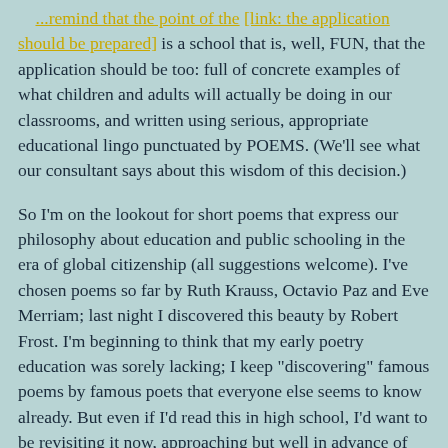...remind that the point of the [link text] is a school that is, well, FUN, that the application should be too: full of concrete examples of what children and adults will actually be doing in our classrooms, and written using serious, appropriate educational lingo punctuated by POEMS. (We'll see what our consultant says about this wisdom of this decision.)
So I'm on the lookout for short poems that express our philosophy about education and public schooling in the era of global citizenship (all suggestions welcome). I've chosen poems so far by Ruth Krauss, Octavio Paz and Eve Merriam; last night I discovered this beauty by Robert Frost. I'm beginning to think that my early poetry education was sorely lacking; I keep "discovering" famous poems by famous poets that everyone else seems to know already. But even if I'd read this in high school, I'd want to be revisiting it now, approaching but well in advance of 50.
What Fifty Said
When I was young my teachers were the old.
I gave up fire for form till I was cold.
I suffered like a metal being cast.
I went to school to age to learn the past.